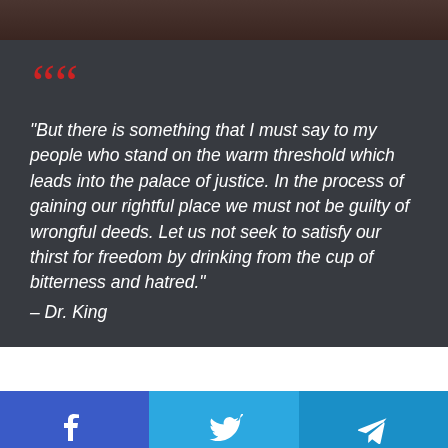[Figure (photo): Dark cropped photo strip at the top of the page, showing partial image of a person]
“But there is something that I must say to my people who stand on the warm threshold which leads into the palace of justice. In the process of gaining our rightful place we must not be guilty of wrongful deeds. Let us not seek to satisfy our thirst for freedom by drinking from the cup of bitterness and hatred.” – Dr. King
[Figure (other): Social sharing bar with Facebook, Twitter, and Telegram icons]